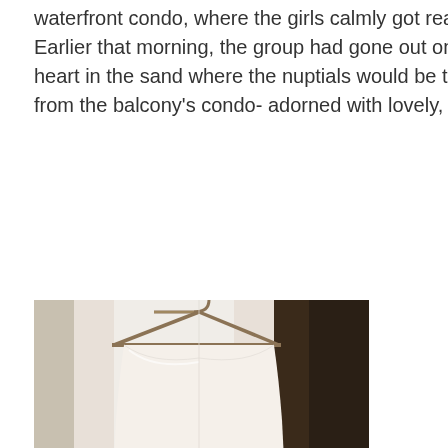waterfront condo, where the girls calmly got ready and prepared for the day. Earlier that morning, the group had gone out on the beach to draw a huge heart in the sand where the nuptials would be taking place. We could see it from the balcony's condo- adorned with lovely, fresh flowers.
[Figure (photo): A white strapless wedding dress hanging on a wooden hanger in front of a bright window, with a crystal chandelier with lit candles visible in the foreground right.]